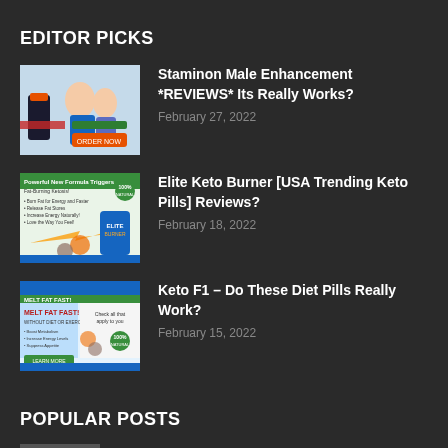EDITOR PICKS
[Figure (photo): Advertisement thumbnail for Staminon Male Enhancement product]
Staminon Male Enhancement *REVIEWS* Its Really Works?
February 27, 2022
[Figure (photo): Advertisement thumbnail for Elite Keto Burner supplement product]
Elite Keto Burner [USA Trending Keto Pills] Reviews?
February 18, 2022
[Figure (photo): Advertisement thumbnail for Keto F1 diet pills product]
Keto F1 – Do These Diet Pills Really Work?
February 15, 2022
POPULAR POSTS